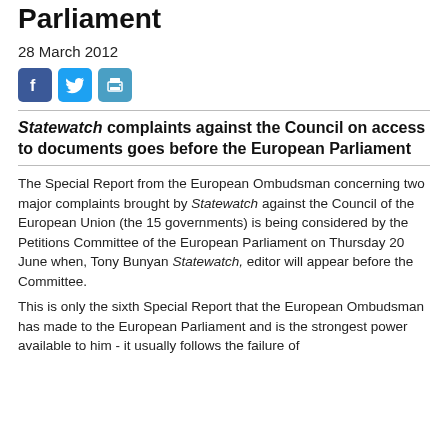Parliament
28 March 2012
[Figure (other): Social share icons: Facebook, Twitter, Print]
Statewatch complaints against the Council on access to documents goes before the European Parliament
The Special Report from the European Ombudsman concerning two major complaints brought by Statewatch against the Council of the European Union (the 15 governments) is being considered by the Petitions Committee of the European Parliament on Thursday 20 June when, Tony Bunyan Statewatch, editor will appear before the Committee.
This is only the sixth Special Report that the European Ombudsman has made to the European Parliament and is the strongest power available to him - it usually follows the failure of